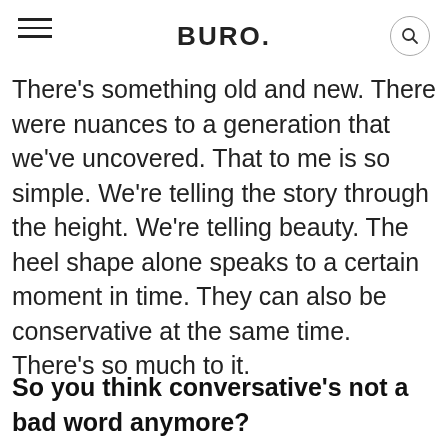BURO.
There's something old and new. There were nuances to a generation that we've uncovered. That to me is so simple. We're telling the story through the height. We're telling beauty. The heel shape alone speaks to a certain moment in time. They can also be conservative at the same time. There's so much to it.
So you think conversative's not a bad word anymore?